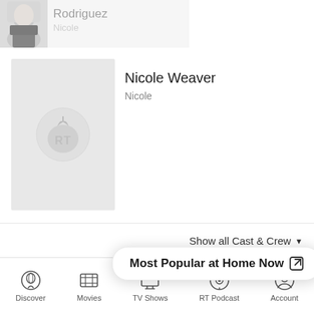[Figure (photo): Partial cast row at top showing a person's photo (face visible, dark hair, choker/scarf), faded/muted]
Rodriguez
Nicole
[Figure (photo): Rotten Tomatoes placeholder image (RT tomato logo on grey background) for Nicole Weaver]
Nicole Weaver
Nicole
Show all Cast & Crew ▾
CRITIC REVI
Most Popular at Home Now 🔗
Discover
Movies
TV Shows
RT Podcast
Account